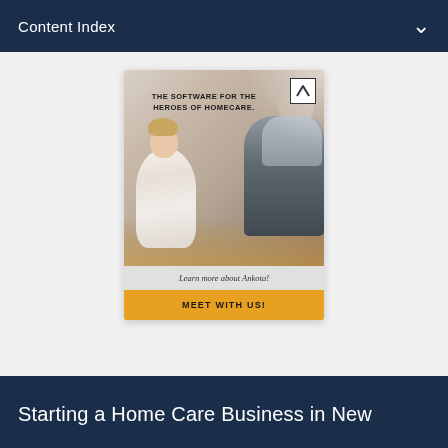Content Index
[Figure (illustration): Ankota software advertisement. Shows a nurse sitting on the floor attending to the foot of an elderly male patient seated on a bed. Ad headline reads 'THE SOFTWARE FOR THE HEROES OF HOMECARE.' with Ankota logo in top right corner. Below the image: 'Learn more about Ankota!' and a gold call-to-action button reading 'MEET WITH US!']
Starting a Home Care Business in New